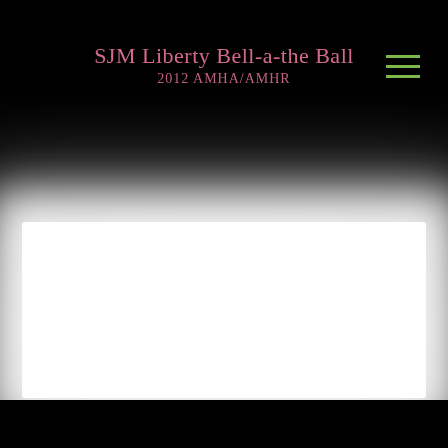SJM Liberty Bell-a-the Ball
2012 AMHA/AMHR
[Figure (photo): A large white glowing rectangular photo area centered on a black background, representing a horse or animal photo (content washed out/overexposed). The image shows a bright white rectangle with soft glowing edges against the dark page background.]